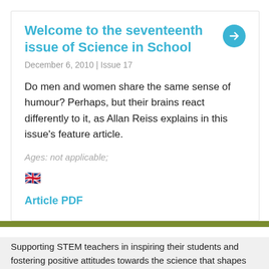Welcome to the seventeenth issue of Science in School
December 6, 2010 | Issue 17
Do men and women share the same sense of humour? Perhaps, but their brains react differently to it, as Allan Reiss explains in this issue’s feature article.
Ages: not applicable;
[Figure (illustration): UK flag emoji]
Article PDF
Supporting STEM teachers in inspiring their students and fostering positive attitudes towards the science that shapes